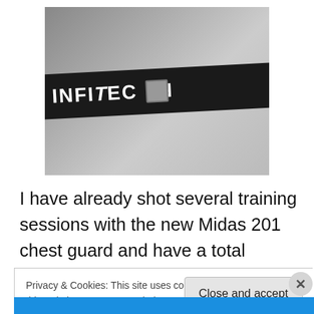[Figure (photo): Photo of a black Inftec branded chest guard strap with metal buckle in the center, on a light gray background.]
I have already shot several training sessions with the new Midas 201 chest guard and have a total positive experience and I am very excited to use it this summer in several upcoming tournaments.
Privacy & Cookies: This site uses cookies. By continuing to use this website, you agree to their use.
To find out more, including how to control cookies, see here: Cookie Policy
Close and accept